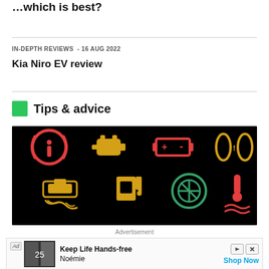...which is best?
IN-DEPTH REVIEWS - 16 Aug 2022
Kia Niro EV review
Tips & advice
[Figure (photo): Dashboard warning lights on black background: 8 car warning icons in red, yellow, and green including brake, engine, battery, tyre pressure, traction control, fuel, eco mode, and temperature warning lights]
Advertisement
Ad Keep Life Hands-free Noémie Shop Now